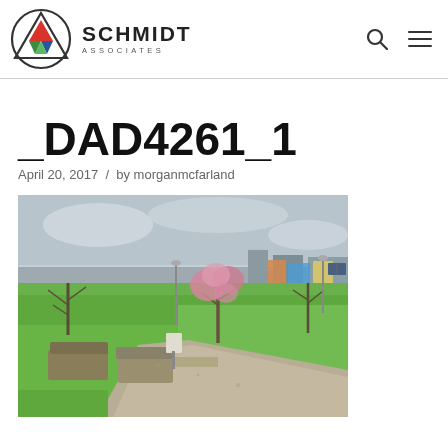SCHMIDT ASSOCIATES
_DAD4261_1
April 20, 2017 / by morganmcfarland
[Figure (photo): Outdoor park scene with green grass lawn, a concrete bench and planter box, a gravel pathway, bare trees, a blooming pink/purple tree, and urban buildings visible in the background under an overcast sky.]